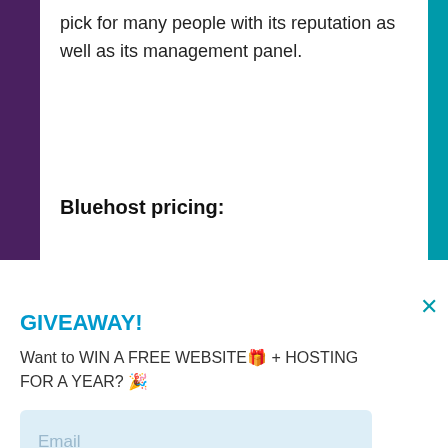pick for many people with its reputation as well as its management panel.
Bluehost pricing:
GIVEAWAY!
Want to WIN A FREE WEBSITE🎁 + HOSTING FOR A YEAR? 🎉
[Figure (screenshot): Email input field with light blue background and placeholder text 'Email']
[Figure (screenshot): Teal 'SHOW ME!' button with darker right panel containing a chevron arrow]